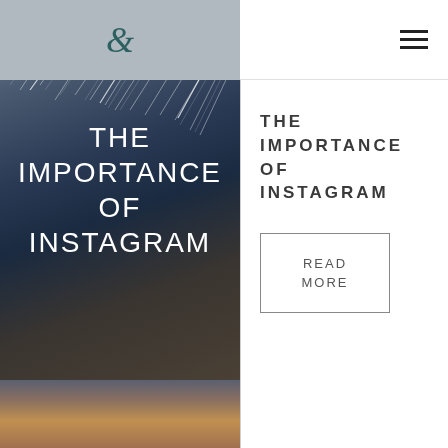[Figure (photo): Left panel: decorative ampersand logo on gray header bar, star trail night sky long-exposure photograph forming main content panel, rocky landscape at bottom. White text overlay reading THE IMPORTANCE OF INSTAGRAM.]
THE IMPORTANCE OF INSTAGRAM
hamburger menu icon
READ MORE